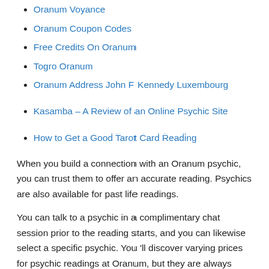Oranum Voyance
Oranum Coupon Codes
Free Credits On Oranum
Togro Oranum
Oranum Address John F Kennedy Luxembourg
Kasamba – A Review of an Online Psychic Site
How to Get a Good Tarot Card Reading
When you build a connection with an Oranum psychic, you can trust them to offer an accurate reading. Psychics are also available for past life readings.
You can talk to a psychic in a complimentary chat session prior to the reading starts, and you can likewise select a specific psychic. You 'll discover varying prices for psychic readings at Oranum, but they are always honest, trustworthy, and accurate.